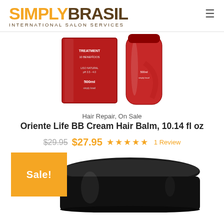[Figure (logo): SimplyBrasil International Salon Services logo with orange SIMPLY and dark brown BRASIL text]
[Figure (photo): Red hair treatment product box and tube/bottle, 500ml]
Hair Repair, On Sale
Oriente Life BB Cream Hair Balm, 10.14 fl oz
$29.95 $27.95 ★★★★★ 1 Review
[Figure (photo): Orange Sale! badge and black hair balm jar product image]